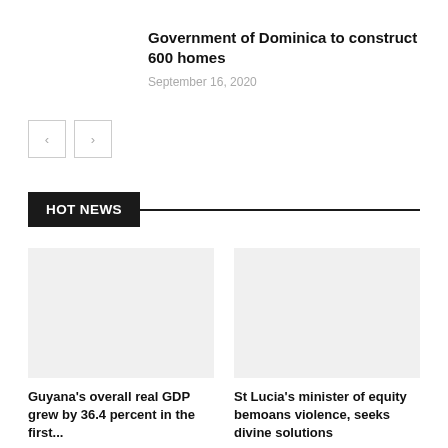Government of Dominica to construct 600 homes
September 16, 2020
HOT NEWS
Guyana's overall real GDP grew by 36.4 percent in the first...
St Lucia's minister of equity bemoans violence, seeks divine solutions